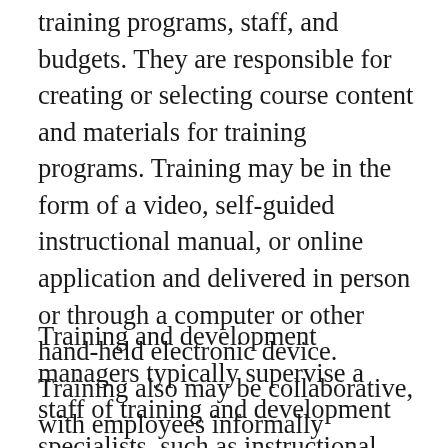training programs, staff, and budgets. They are responsible for creating or selecting course content and materials for training programs. Training may be in the form of a video, self-guided instructional manual, or online application and delivered in person or through a computer or other hand-held electronic device. Training also may be collaborative, with employees informally connecting with experts, mentors, and colleagues, often through social media or other online medium. Managers must ensure that training methods, content, software, systems, and equipment are appropriate.
Training and development managers typically supervise a staff of training and development specialists, such as instructional designers, program developers, and instructors.